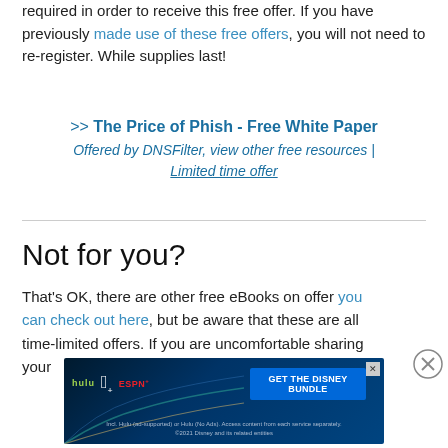required in order to receive this free offer. If you have previously made use of these free offers, you will not need to re-register. While supplies last!
>> The Price of Phish - Free White Paper
Offered by DNSFilter, view other free resources | Limited time offer
Not for you?
That's OK, there are other free eBooks on offer you can check out here, but be aware that these are all time-limited offers. If you are uncomfortable sharing your
[Figure (infographic): Advertisement banner for Disney Bundle featuring Hulu, Disney+, and ESPN+ logos with blue/teal gradient background and GET THE DISNEY BUNDLE call-to-action button]